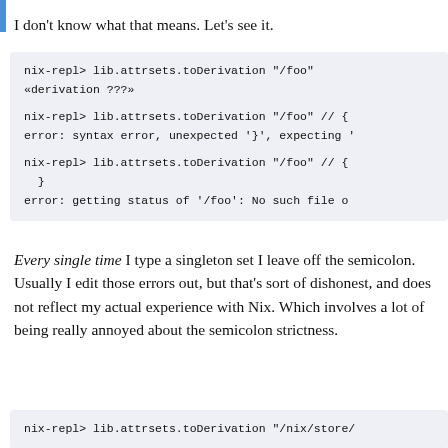I don't know what that means. Let's see it.
[Figure (screenshot): Code block showing nix-repl terminal session with lib.attrsets.toDerivation commands and error outputs]
Every single time I type a singleton set I leave off the semicolon. Usually I edit those errors out, but that's sort of dishonest, and does not reflect my actual experience with Nix. Which involves a lot of being really annoyed about the semicolon strictness.
[Figure (screenshot): Code block showing nix-repl terminal session with lib.attrsets.toDerivation "/nix/store/..."]